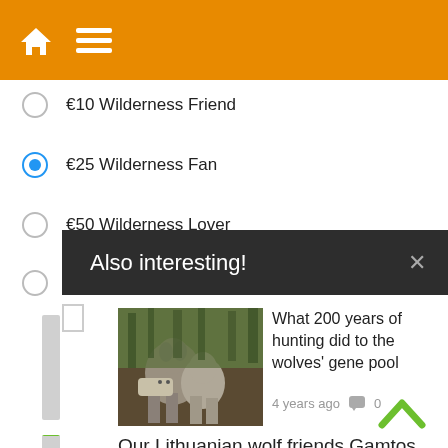[Figure (screenshot): Orange navigation bar with white home icon and hamburger menu icon]
€10 Wilderness Friend
€25 Wilderness Fan
€50 Wilderness Lover
Also interesting!
[Figure (photo): Two wolves in a forest setting]
What 200 years of hunting did to the wolves' gene pool
4 years ago  💬 0
Our Lithuanian wolf friends Gamtos Apsaugos Asociacija Baltijos Vilkas
5 years ago  💬 9